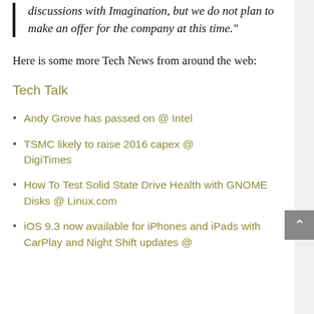discussions with Imagination, but we do not plan to make an offer for the company at this time."
Here is some more Tech News from around the web:
Tech Talk
Andy Grove has passed on @ Intel
TSMC likely to raise 2016 capex @ DigiTimes
How To Test Solid State Drive Health with GNOME Disks @ Linux.com
iOS 9.3 now available for iPhones and iPads with CarPlay and Night Shift updates @